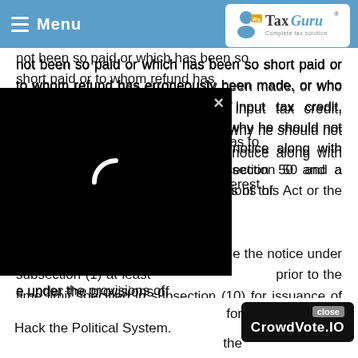Menu | TaxGuru - Complete Tax Solution
not been so paid or which has been so short paid or to whom refund has erroneously been made, or who has wrongly availed or utilized input tax credit, requiring him to show cause as to why he should not pay the amount specified in the notice along with interest payable thereon under section 50 and a penalty leviable under the provisions of this Act or the rules made thereunder.
[Figure (screenshot): Black video player overlay with loading spinner and close (X) button in top right corner]
officer shall issue the notice under subsection (1) at least prior to the time limit specified in subsection (10) for issuance of order.
Hack the Political System.
[Figure (screenshot): CrowdVote.IO advertisement banner with close button, dark background with white text]